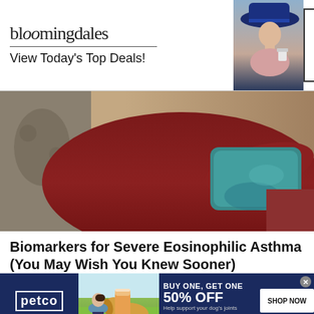[Figure (screenshot): Bloomingdales advertisement banner: logo with 'bloomingdales' text, 'View Today's Top Deals!' tagline, photo of woman in blue hat, 'SHOP NOW >' button]
[Figure (photo): Woman in dark red/maroon top lying on a couch holding a teal/blue ice pack against her abdomen]
Biomarkers for Severe Eosinophilic Asthma (You May Wish You Knew Sooner)
Asthma | Search Ads | Sponsored
[Figure (screenshot): Petco advertisement: 'BUY ONE, GET ONE 50% OFF' on dog supplements, 'Help support your dog's joints with a premium supplement.' SHOP NOW button, photo of woman with golden retriever, product bottle]